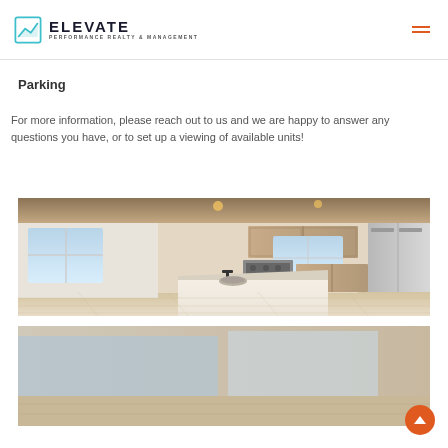Elevate Performance Realty & Management
Parking
For more information, please reach out to us and we are happy to answer any questions you have, or to set up a viewing of available units!
[Figure (photo): Interior photo of a modern kitchen with white island countertop, black faucet, stainless steel appliances, and light wood floors with living area visible in background]
[Figure (photo): Partial interior photo (cropped at bottom of page)]